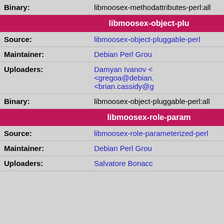| Field | Value |
| --- | --- |
| Binary: | libmoosex-methodattributes-perl:all |
| libmoosex-object-plu... | section header |
| Source: | libmoosex-object-pluggable-perl |
| Maintainer: | Debian Perl Group |
| Uploaders: | Damyan Ivanov <...>, <gregoa@debian....>, <brian.cassidy@g...> |
| Binary: | libmoosex-object-pluggable-perl:all |
| libmoosex-role-param... | section header |
| Source: | libmoosex-role-parameterized-perl |
| Maintainer: | Debian Perl Group |
| Uploaders: | Salvatore Bonacc... |